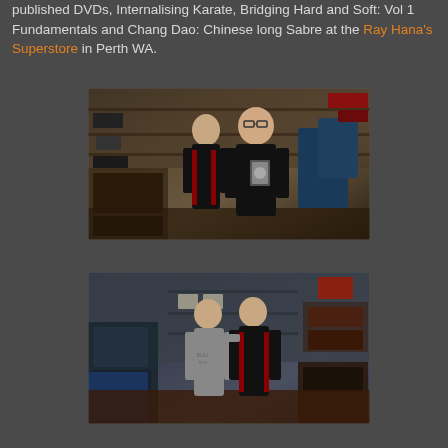published DVDs, Internalising Karate, Bridging Hard and Soft: Vol 1 Fundamentals and Chang Dao: Chinese long Sabre at the Ray Hana's Superstore in Perth WA.
[Figure (photo): Two men posing together inside Ray Hana's Superstore martial arts shop in Perth WA. The man on the right is holding up a DVD. The shop interior is visible in background with shelves of martial arts equipment.]
[Figure (photo): Two men posing together inside Ray Hana's Superstore martial arts shop in Perth WA. One man wears a grey t-shirt and the other wears a black and red training shirt. The cluttered shop interior is visible in the background.]